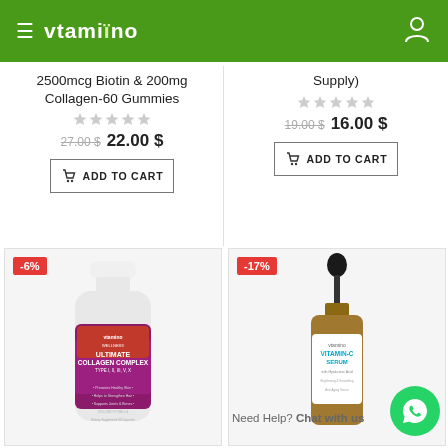vtamino
2500mcg Biotin & 200mg Collagen-60 Gummies
27.00 $ 22.00 $
ADD TO CART
Supply)
19.00 $ 16.00 $
ADD TO CART
[Figure (photo): Vtamino Ultimate Collagen Complex supplement bottle with red and purple label, white cap, -6% discount badge]
[Figure (photo): Vtamino Vitamin C Serum with Hyaluronic Acid amber dropper bottle, -17% discount badge]
Vtamino Ultimate Collagen Complex Supports Joints
Vtamino Vitamin C Serum with Hyaluronic Acid (60ml)
Need Help? Chat with us